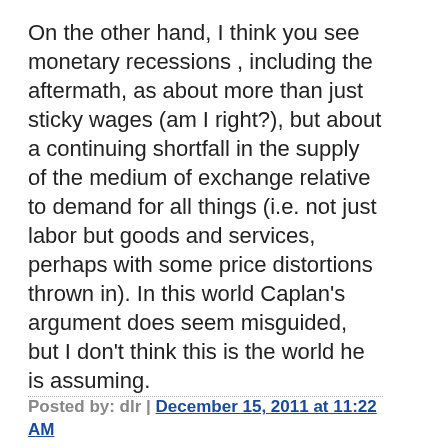On the other hand, I think you see monetary recessions , including the aftermath, as about more than just sticky wages (am I right?), but about a continuing shortfall in the supply of the medium of exchange relative to demand for all things (i.e. not just labor but goods and services, perhaps with some price distortions thrown in). In this world Caplan's argument does seem misguided, but I don't think this is the world he is assuming.
Posted by: dlr | December 15, 2011 at 11:22 AM